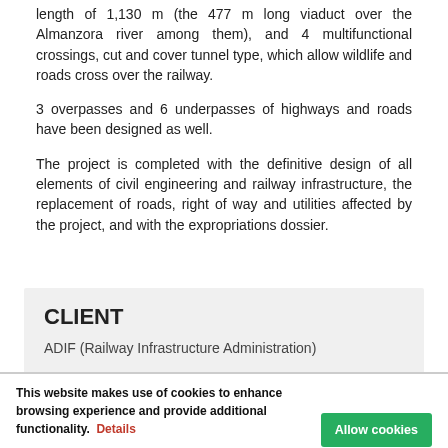length of 1,130 m (the 477 m long viaduct over the Almanzora river among them), and 4 multifunctional crossings, cut and cover tunnel type, which allow wildlife and roads cross over the railway.
3 overpasses and 6 underpasses of highways and roads have been designed as well.
The project is completed with the definitive design of all elements of civil engineering and railway infrastructure, the replacement of roads, right of way and utilities affected by the project, and with the expropriations dossier.
CLIENT
ADIF (Railway Infrastructure Administration)
This website makes use of cookies to enhance browsing experience and provide additional functionality. Details